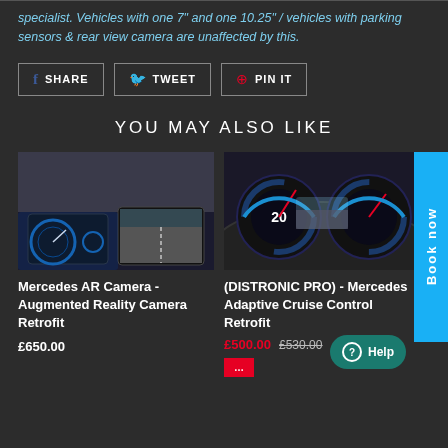specialist. Vehicles with one 7" and one 10.25" / vehicles with parking sensors & rear view camera are unaffected by this.
SHARE   TWEET   PIN IT
YOU MAY ALSO LIKE
[Figure (photo): Mercedes AR Camera dashboard with wide screen navigation display showing road view]
Mercedes AR Camera - Augmented Reality Camera Retrofit
£650.00
[Figure (photo): Mercedes digital instrument cluster display showing speedometer and dashboard gauges]
(DISTRONIC PRO) - Mercedes Adaptive Cruise Control Retrofit
£500.00  £530.00